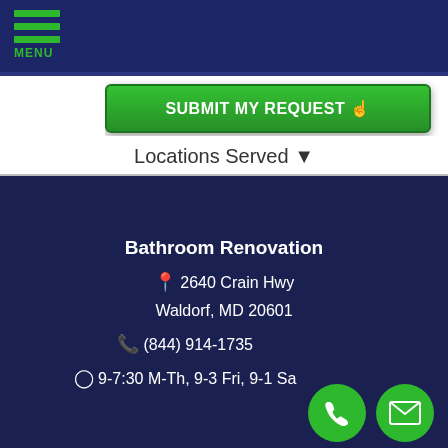[Figure (screenshot): Navigation bar with green hamburger menu icon and MENU label on dark navy background]
[Figure (screenshot): Green submit button reading SUBMIT MY REQUEST with cursor/hand icon]
Locations Served ▾
Bathroom Renovation
📍 2640 Crain Hwy
Waldorf, MD 20601
📞 (844) 914-1735
🕐 9-7:30 M-Th, 9-3 Fri, 9-1 Sa
[Figure (infographic): Green circular FAB button with white phone handset icon]
[Figure (infographic): Green circular FAB button with white envelope/mail icon]